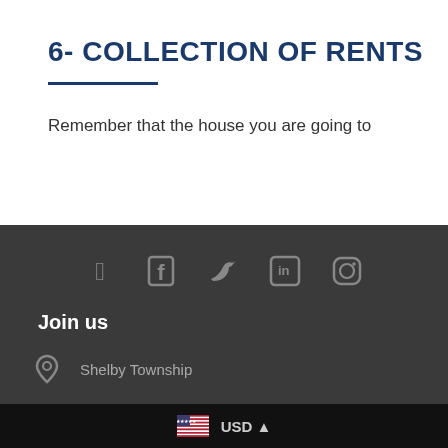6- COLLECTION OF RENTS
Remember that the house you are going to
[Figure (illustration): Social media icons: Facebook, Twitter, LinkedIn, Instagram on dark background]
Join us
Shelby Township
+1 (248) 579-5289
info@kalliste-international.com
USD